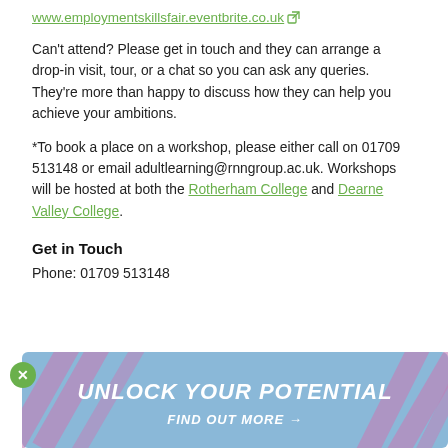www.employmentskillsfair.eventbrite.co.uk
Can't attend? Please get in touch and they can arrange a drop-in visit, tour, or a chat so you can ask any queries. They're more than happy to discuss how they can help you achieve your ambitions.
*To book a place on a workshop, please either call on 01709 513148 or email adultlearning@rnngroup.ac.uk. Workshops will be hosted at both the Rotherham College and Dearne Valley College.
Get in Touch
Phone: 01709 513148
[Figure (infographic): Blue banner with diagonal pink stripes, white italic bold text reading 'UNLOCK YOUR POTENTIAL' and 'FIND OUT MORE →', with a green circle close button on the left side.]